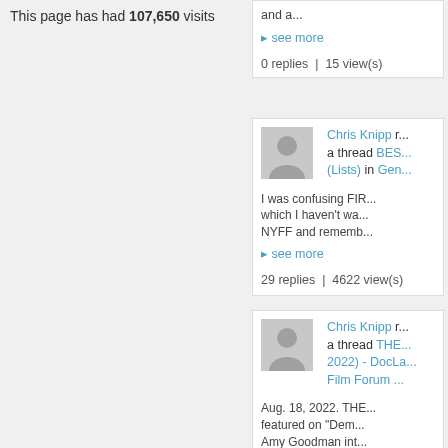This page has had 107,650 visits
and a...
see more
0 replies | 15 view(s)
Chris Knipp replied a thread BES... (Lists) in Gen...
I was confusing FIR... which I haven't wa... NYFF and rememb...
see more
29 replies | 4622 view(s)
Chris Knipp replied a thread THE... 2022) - DocLa... Film Forum ...
Aug. 18, 2022. THE... featured on "Dem... Amy Goodman int... and the...